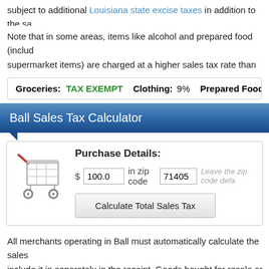subject to additional Louisiana state excise taxes in addition to the sa
Note that in some areas, items like alcohol and prepared food (includ supermarket items) are charged at a higher sales tax rate than gene commonly exempted categories are listed below. Some rates might b
| Groceries: | Clothing: | Prepared Food: | Prescri... |
| --- | --- | --- | --- |
| TAX EXEMPT | 9% | 9% |  |
Ball Sales Tax Calculator
[Figure (illustration): Shopping cart icon]
Purchase Details: $ 100.0 in zip code 71405 Leave the zip code defa
Calculate Total Sales Tax
All merchants operating in Ball must automatically calculate the sales include it in separately in the receipt. Goods bought for resale or othe sales tax. If you purchase goods online or through the mail and do no